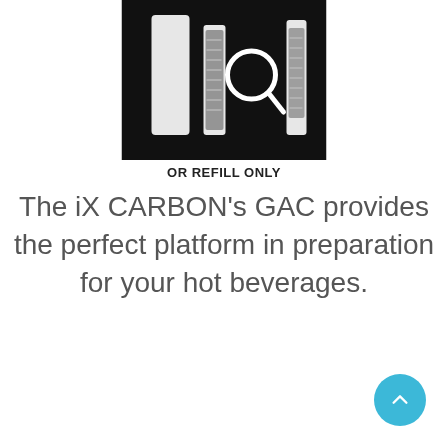[Figure (photo): Black background image showing water filter cartridges and a magnifying glass - product photo for iX CARBON filter system]
OR REFILL ONLY
The iX CARBON's GAC provides the perfect platform in preparation for your hot beverages.